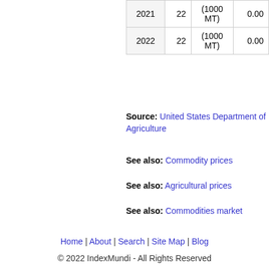| Year |  | (1000 MT) | 0.00 |
| --- | --- | --- | --- |
| 2021 | 22 | (1000 MT) | 0.00 |
| 2022 | 22 | (1000 MT) | 0.00 |
Source: United States Department of Agriculture
See also: Commodity prices
See also: Agricultural prices
See also: Commodities market
Home | About | Search | Site Map | Blog
© 2022 IndexMundi - All Rights Reserved